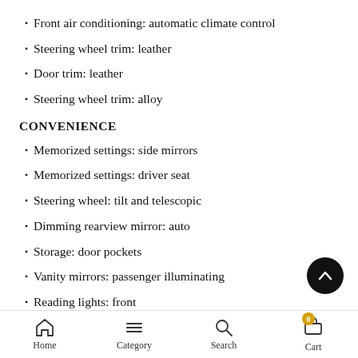Front air conditioning: automatic climate control
Steering wheel trim: leather
Door trim: leather
Steering wheel trim: alloy
CONVENIENCE
Memorized settings: side mirrors
Memorized settings: driver seat
Steering wheel: tilt and telescopic
Dimming rearview mirror: auto
Storage: door pockets
Vanity mirrors: passenger illuminating
Reading lights: front
Home  Category  Search  Cart